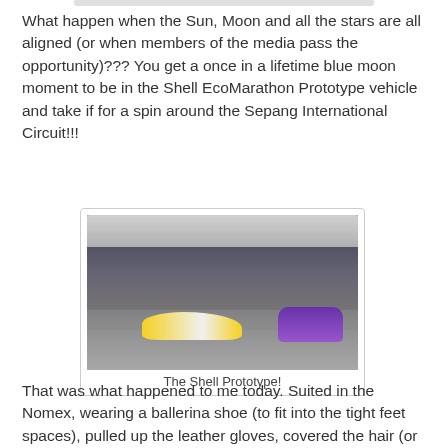What happen when the Sun, Moon and all the stars are all aligned (or when members of the media pass the opportunity)??? You get a once in a lifetime blue moon moment to be in the Shell EcoMarathon Prototype vehicle and take if for a spin around the Sepang International Circuit!!!
[Figure (photo): A photo of the Shell EcoMarathon Prototype vehicle (yellow and white low-slung car) on a garage floor at Sepang International Circuit, with people and another purple vehicle visible in the background under a large covered structure.]
The Shell Prototype!
That was what happened to me today. Suited in the Nomex, wearing a ballerina shoe (to fit into the tight feet spaces), pulled up the leather gloves, covered the hair (or for me, lack of), and helmet - the one lap of 2.67km remains an unknown for me.